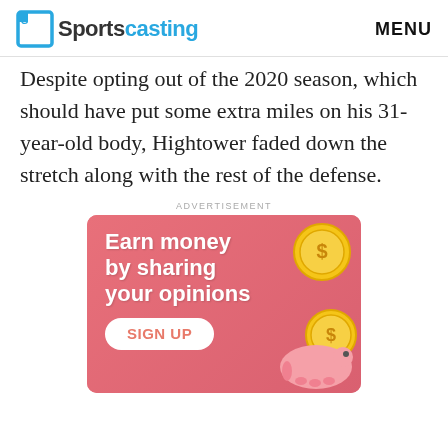Sportscasting  MENU
Despite opting out of the 2020 season, which should have put some extra miles on his 31-year-old body, Hightower faded down the stretch along with the rest of the defense.
ADVERTISEMENT
[Figure (illustration): Advertisement banner with pink/red background showing 'Earn money by sharing your opinions' text with gold coins and a piggy bank illustration, and a 'SIGN UP' button.]